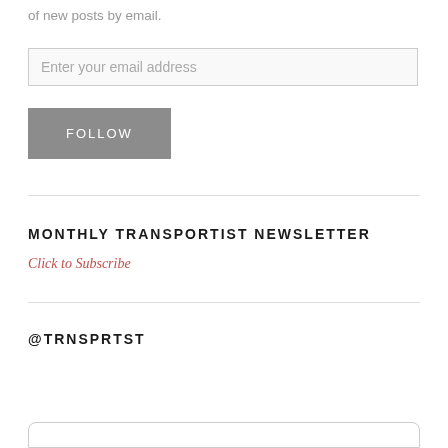of new posts by email.
Enter your email address
FOLLOW
MONTHLY TRANSPORTIST NEWSLETTER
Click to Subscribe
@TRNSPRTST